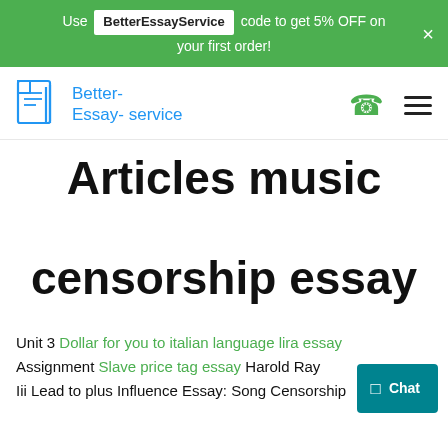Use BetterEssayService code to get 5% OFF on your first order!
[Figure (logo): Better-Essay-service logo with document and pen icon in blue]
Articles music censorship essay
Unit 3 Dollar for you to italian language lira essay Assignment Slave price tag essay Harold Ray Iii Lead to plus Influence Essay: Song Censorship